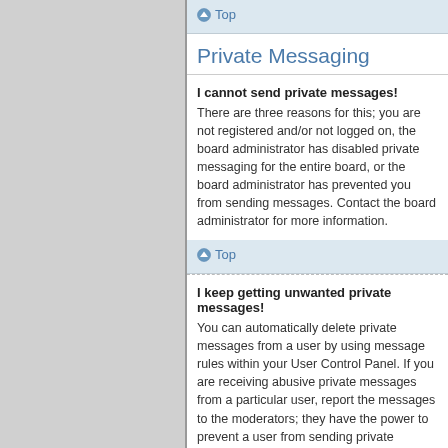Top
Private Messaging
I cannot send private messages! There are three reasons for this; you are not registered and/or not logged on, the board administrator has disabled private messaging for the entire board, or the board administrator has prevented you from sending messages. Contact the board administrator for more information.
Top
I keep getting unwanted private messages! You can automatically delete private messages from a user by using message rules within your User Control Panel. If you are receiving abusive private messages from a particular user, report the messages to the moderators; they have the power to prevent a user from sending private messages.
Top
I have received a spamming or abusive email from someone on this board!